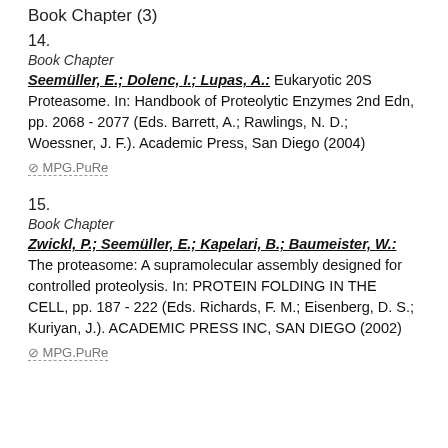Book Chapter (3)
14.
Book Chapter
Seemüller, E.; Dolenc, I.; Lupas, A.: Eukaryotic 20S Proteasome. In: Handbook of Proteolytic Enzymes 2nd Edn, pp. 2068 - 2077 (Eds. Barrett, A.; Rawlings, N. D.; Woessner, J. F.). Academic Press, San Diego (2004)
⊘ MPG.PuRe
15.
Book Chapter
Zwickl, P.; Seemüller, E.; Kapelari, B.; Baumeister, W.: The proteasome: A supramolecular assembly designed for controlled proteolysis. In: PROTEIN FOLDING IN THE CELL, pp. 187 - 222 (Eds. Richards, F. M.; Eisenberg, D. S.; Kuriyan, J.). ACADEMIC PRESS INC, SAN DIEGO (2002)
⊘ MPG.PuRe